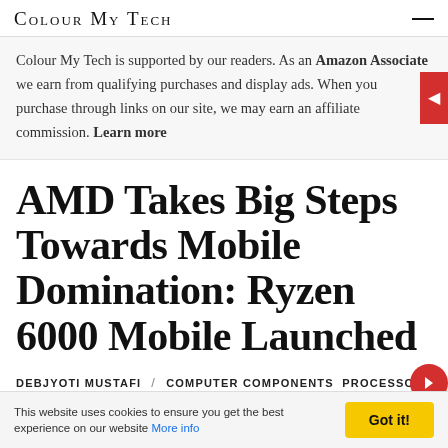Colour My Tech
Colour My Tech is supported by our readers. As an Amazon Associate we earn from qualifying purchases and display ads. When you purchase through links on our site, we may earn an affiliate commission. Learn more
AMD Takes Big Steps Towards Mobile Domination: Ryzen 6000 Mobile Launched
DEBJYOTI MUSTAFI / COMPUTER COMPONENTS PROCESSORS
This website uses cookies to ensure you get the best experience on our website More info